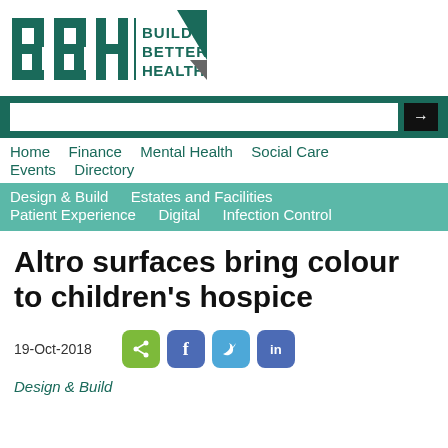[Figure (logo): BBH Building Better Healthcare logo with teal letters BBH, text BUILDING BETTER HEALTHCARE, and dark teal triangle graphic]
Home  Finance  Mental Health  Social Care  Events  Directory  Design & Build  Estates and Facilities  Patient Experience  Digital  Infection Control
Altro surfaces bring colour to children's hospice
19-Oct-2018
Design & Build